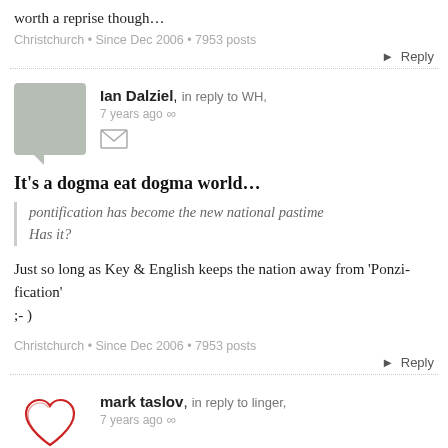worth a reprise though…
Christchurch • Since Dec 2006 • 7953 posts
Reply
Ian Dalziel, in reply to WH,
7 years ago ∞
It's a dogma eat dogma world…
pontification has become the new national pastime
Has it?
Just so long as Key & English keeps the nation away from 'Ponzi-fication'
;- )
Christchurch • Since Dec 2006 • 7953 posts
Reply
mark taslov, in reply to linger,
7 years ago ∞
just reminded me of the cadence of this little